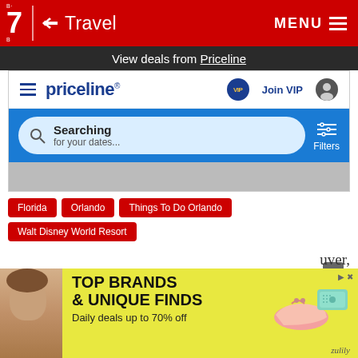B·G 7 ✈ Travel   MENU ≡
View deals from Priceline
[Figure (screenshot): Priceline website widget showing navigation bar with priceline logo, VIP join button, user icon, and a search bar with 'Searching for your dates...' text and Filters option on blue background]
Florida
Orlando
Things To Do Orlando
Walt Disney World Resort
[Figure (screenshot): Advertisement banner with yellow background showing 'TOP BRANDS & UNIQUE FINDS - Daily deals up to 70% off' with product images of shoes and a wallet, Zulily branding]